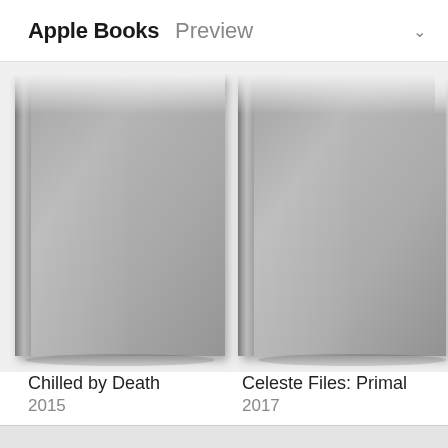Apple Books Preview
[Figure (illustration): Apple Books app preview showing book covers in a grid. Three book covers visible: 'Chilled by Death' (2015), 'Celeste Files: Primal' (2017), and a partially visible third book starting with 'Ha' (201...). Book covers are rendered as generic gray placeholder covers with spine shading effects on a light gray background.]
Chilled by Death
2015
Celeste Files: Primal
2017
Ha
201